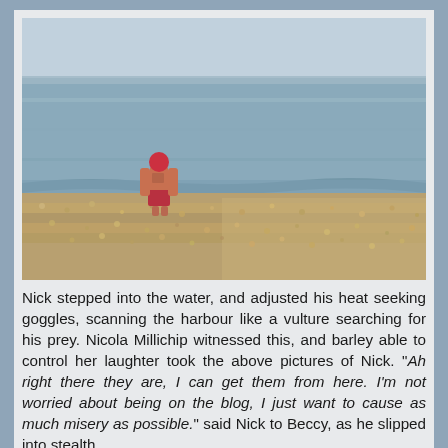[Figure (photo): A person wearing a red swimming cap and red swim shorts stands at the shoreline of a pebble beach, facing the calm sea/harbour water. The beach is covered in small rounded stones/pebbles. The water is calm and bluish-grey. The sky is hazy and light.]
Nick stepped into the water, and adjusted his heat seeking goggles, scanning the harbour like a vulture searching for his prey. Nicola Millichip witnessed this, and barley able to control her laughter took the above pictures of Nick. "Ah right there they are, I can get them from here. I'm not worried about being on the blog, I just want to cause as much misery as possible." said Nick to Beccy, as he slipped into stealth